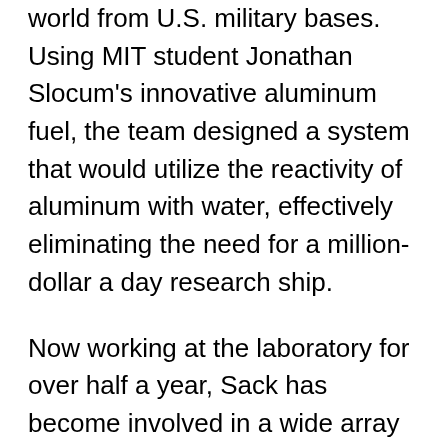world from U.S. military bases. Using MIT student Jonathan Slocum's innovative aluminum fuel, the team designed a system that would utilize the reactivity of aluminum with water, effectively eliminating the need for a million-dollar a day research ship.
Now working at the laboratory for over half a year, Sack has become involved in a wide array of projects. "In her short time in the Energy Systems Group, Jean has contributed across a number of programs, including those in undersea power systems and soldier power applications," says Scott Van Broekhoven, leader of this group. "Jean has also helped to mentor the existing year's students in the development of a power source to extend soldier endurance." This current capstone project, which